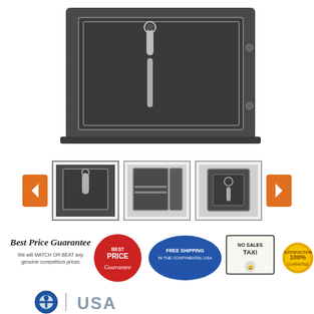[Figure (photo): Large main product image of a dark gray/charcoal floor safe with digital keypad and handle, shown from front angle on white background]
[Figure (photo): Three product thumbnail images of the safe: front view (selected/highlighted), open interior view, and another front view. Navigation arrows (orange left and right) flank the thumbnails.]
[Figure (infographic): Row of promotional badges: Best Price Guarantee text with italics, red Best Price Guarantee seal, Free Shipping in the Continental USA map badge, No Sales Tax sign, 100% Satisfaction Guarantee gold seal]
[Figure (logo): USA Safe & Vault logo: blue circular icon with person/steering wheel design, vertical divider, then USA text in large gray letters]